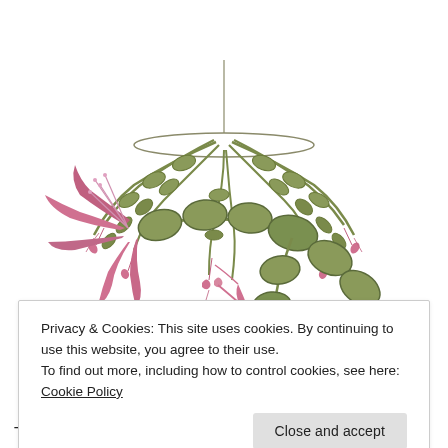[Figure (illustration): Botanical illustration of a Christmas cactus (Schlumbergera) showing two views: top portion shows a hanging basket with cascading green segmented stems and small pink-red flowers; bottom portion shows a close-up of segmented green stems with prominent pink-magenta blooms with curling petals.]
Privacy & Cookies: This site uses cookies. By continuing to use this website, you agree to their use.
To find out more, including how to control cookies, see here: Cookie Policy
Close and accept
This seems like an appropriate time of year to consider the